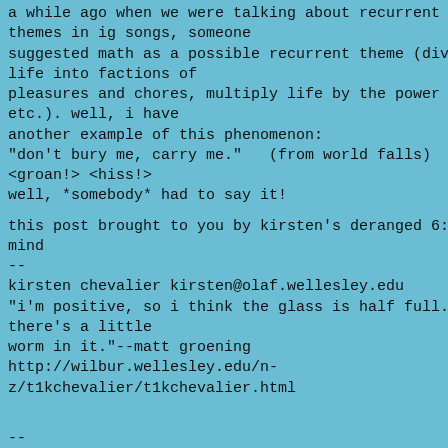a while ago when we were talking about recurrent themes in ig songs, someone suggested math as a possible recurrent theme (dividing life into factions of pleasures and chores, multiply life by the power of two, etc.). well, i have another example of this phenomenon: "don't bury me, carry me."   (from world falls) <groan!> <hiss!> well, *somebody* had to say it!
this post brought to you by kirsten's deranged 6:57 am mind -- kirsten chevalier kirsten@olaf.wellesley.edu "i'm positive, so i think the glass is half full. too bad there's a little worm in it."--matt groening http://wilbur.wellesley.edu/n-z/t1kchevalier/t1kchevalier.html
-- administrative requests should not be sent to the list! to unsubscribe, send email to listserv@netspace.org